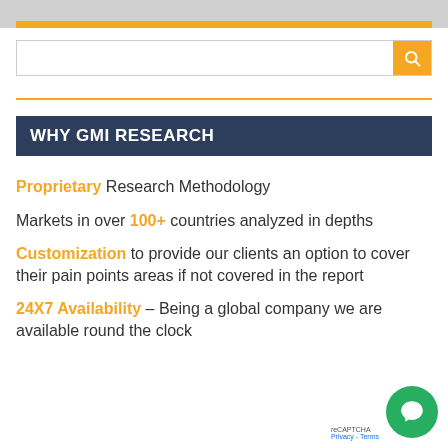[Figure (other): Top banner with orange highlight bar and search bar with orange search button]
WHY GMI RESEARCH
Proprietary Research Methodology
Markets in over 100+ countries analyzed in depths
Customization to provide our clients an option to cover their pain points areas if not covered in the report
24X7 Availability – Being a global company we are available round the clock